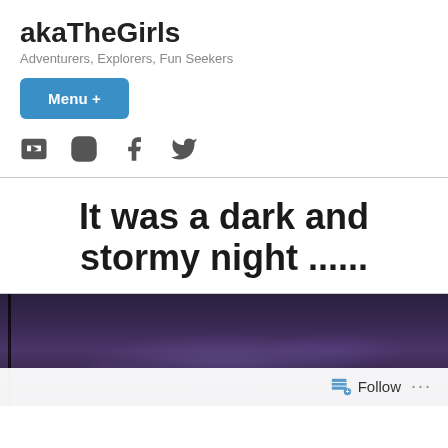akaTheGirls
Adventurers, Explorers, Fun Seekers
Menu +
[Figure (other): Social media icons: YouTube, Instagram, Facebook, Twitter]
It was a dark and stormy night ......
[Figure (photo): Dark stormy night sky with purple and dark tones]
Follow